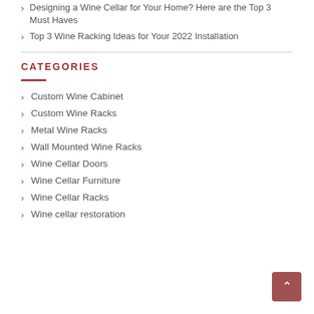Designing a Wine Cellar for Your Home? Here are the Top 3 Must Haves
Top 3 Wine Racking Ideas for Your 2022 Installation
CATEGORIES
Custom Wine Cabinet
Custom Wine Racks
Metal Wine Racks
Wall Mounted Wine Racks
Wine Cellar Doors
Wine Cellar Furniture
Wine Cellar Racks
Wine cellar restoration